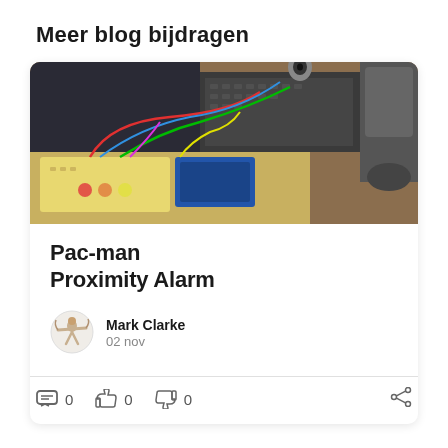Meer blog bijdragen
[Figure (photo): Photo of an electronics workbench with colorful wires, Arduino/breadboard setup, keyboard, and a chair in the background]
Pac-man Proximity Alarm
[Figure (illustration): Small avatar/logo icon of Mark Clarke - appears to be a stylized figure]
Mark Clarke
02 nov
0  0  0  share